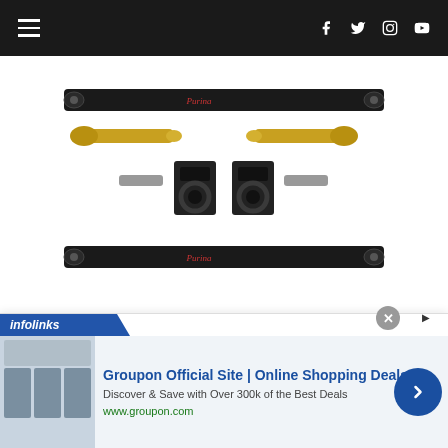Navigation bar with hamburger menu and social icons (Facebook, Twitter, Instagram, YouTube)
[Figure (photo): Product photo showing limit straps kit for UTVs: two black straps with logo, two gold-colored tie rod ends, two black clamp brackets, and various bolts/hardware on white background]
Market-Tested & Industry Leading Limit Straps for Nearly All UTVs
July 22, 2022
[Figure (screenshot): Infolinks advertisement overlay: Groupon Official Site | Online Shopping Deals - Discover & Save with Over 300k of the Best Deals - www.groupon.com, with blue arrow button and close button]